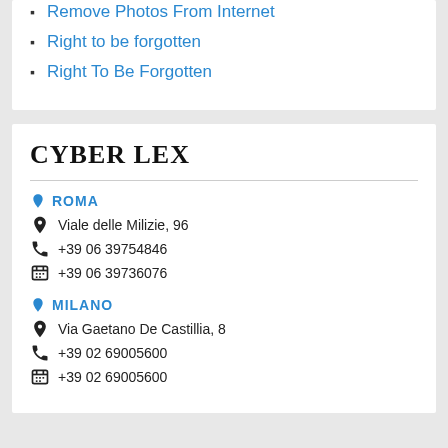Remove Photos From Internet
Right to be forgotten
Right To Be Forgotten
CYBER LEX
📍 ROMA
Viale delle Milizie, 96
+39 06 39754846
+39 06 39736076
📍 MILANO
Via Gaetano De Castillia, 8
+39 02 69005600
+39 02 69005600